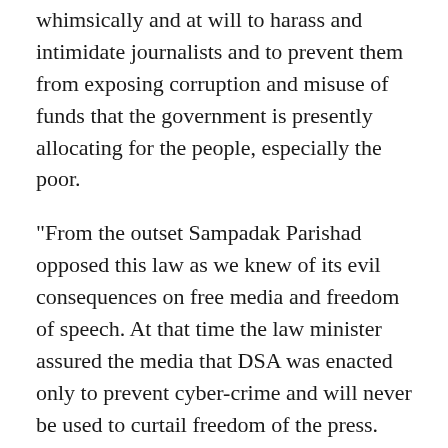whimsically and at will to harass and intimidate journalists and to prevent them from exposing corruption and misuse of funds that the government is presently allocating for the people, especially the poor.
"From the outset Sampadak Parishad opposed this law as we knew of its evil consequences on free media and freedom of speech. At that time the law minister assured the media that DSA was enacted only to prevent cyber-crime and will never be used to curtail freedom of the press. Statistics show that more journalists, teachers, and intellectuals have been arrested under DSA than cyber criminals, especially in the last six months," the Daily Star reports citing the statement.
Given our original objection and the experience of the last two and half years we are more convinced than ever